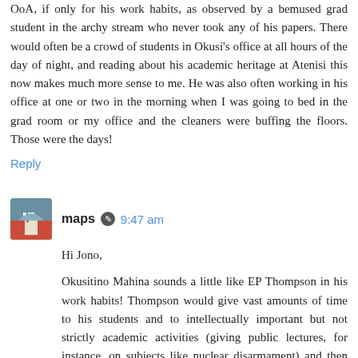OoA, if only for his work habits, as observed by a bemused grad student in the archy stream who never took any of his papers. There would often be a crowd of students in Okusi's office at all hours of the day of night, and reading about his academic heritage at Atenisi this now makes much more sense to me. He was also often working in his office at one or two in the morning when I was going to bed in the grad room or my office and the cleaners were buffing the floors. Those were the days!
Reply
maps 9:47 am
Hi Jono,
Okusitino Mahina sounds a little like EP Thompson in his work habits! Thompson would give vast amounts of time to his students and to intellectually important but not strictly academic activities (giving public lectures, for instance, on subjects like nuclear disarmament) and then make up for it by working ungodly hours.